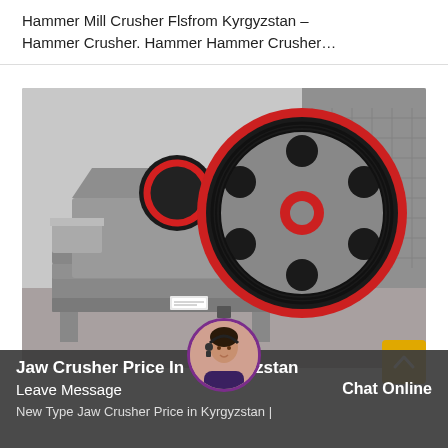Hammer Mill Crusher Flsfrom Kyrgyzstan – Hammer Crusher. Hammer Hammer Crusher…
[Figure (photo): Photograph of a jaw crusher machine with a large red and black flywheel, grey metal frame and body, sitting on a concrete floor in an industrial warehouse or yard. A forklift is visible in the background.]
Jaw Crusher Price In Kyrgyzstan
Leave Message   Chat Online
New Type Jaw Crusher Price in Kyrgyzstan |